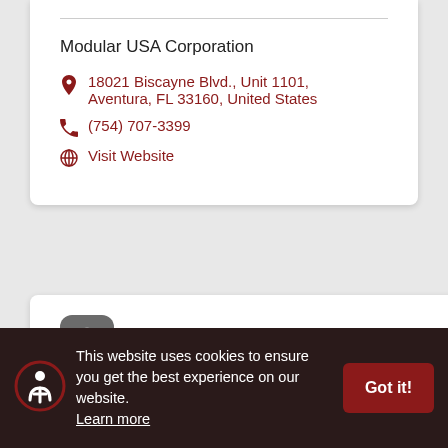Modular USA Corporation
18021 Biscayne Blvd., Unit 1101, Aventura, FL 33160, United States
(754) 707-3399
Visit Website
[Figure (logo): Dark gray rounded square icon with a white circular/lens shape inside]
This website uses cookies to ensure you get the best experience on our website. Learn more
Got it!